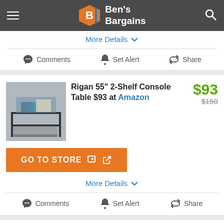Ben's Bargains
More Details
Comments  Set Alert  Share
Rigan 55" 2-Shelf Console Table $93 at Amazon
$93  $150
GO TO STORE
More Details
Comments  Set Alert  Share
6-Pack Victor Quick-Kill Mouse  $12